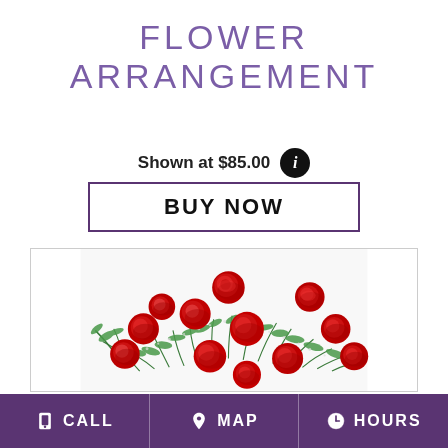FLOWER ARRANGEMENT
Shown at $85.00
BUY NOW
[Figure (photo): A bouquet of red roses with green fern foliage arranged on a white background]
CALL  MAP  HOURS